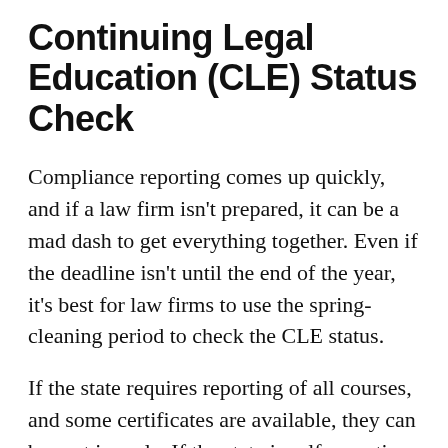Continuing Legal Education (CLE) Status Check
Compliance reporting comes up quickly, and if a law firm isn't prepared, it can be a mad dash to get everything together. Even if the deadline isn't until the end of the year, it's best for law firms to use the spring-cleaning period to check the CLE status.
If the state requires reporting of all courses, and some certificates are available, they can be sent in early. If the state is self-reporting, the certificates should be organized in preparation for a possible audit. It's important that the